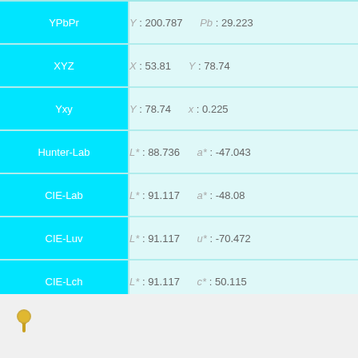| Label | Value 1 | Value 2 |
| --- | --- | --- |
| YPbPr | Y : 200.787 | Pb : 29.223 |
| XYZ | X : 53.81 | Y : 78.74 |
| Yxy | Y : 78.74 | x : 0.225 |
| Hunter-Lab | L* : 88.736 | a* : -47.043 |
| CIE-Lab | L* : 91.117 | a* : -48.08 |
| CIE-Luv | L* : 91.117 | u* : -70.472 |
| CIE-Lch | L* : 91.117 | c* : 50.115 |
| Munsell (JIS Approximate) | 7.5BG 9/10 , 7.5BG 9/8 , 10BG |  |
| Tone | Vivid |  |
| Category | HTML Color Name |  |
[Figure (illustration): Pin/thumbtack icon in the footer area]